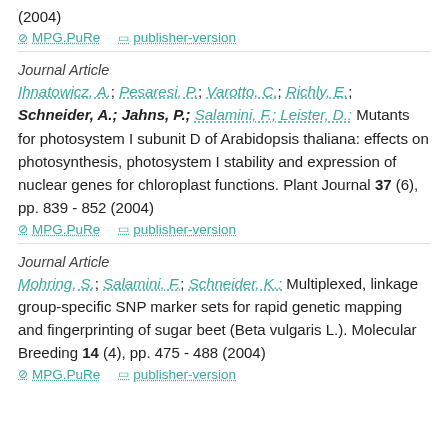(2004)
MPG.PuRe   publisher-version
Journal Article
Ihnatowicz, A.; Pesaresi, P.; Varotto, C.; Richly, E.; Schneider, A.; Jahns, P.; Salamini, F.; Leister, D.: Mutants for photosystem I subunit D of Arabidopsis thaliana: effects on photosynthesis, photosystem I stability and expression of nuclear genes for chloroplast functions. Plant Journal 37 (6), pp. 839 - 852 (2004)
MPG.PuRe   publisher-version
Journal Article
Mohring, S.; Salamini, F.; Schneider, K.: Multiplexed, linkage group-specific SNP marker sets for rapid genetic mapping and fingerprinting of sugar beet (Beta vulgaris L.). Molecular Breeding 14 (4), pp. 475 - 488 (2004)
MPG.PuRe   publisher-version